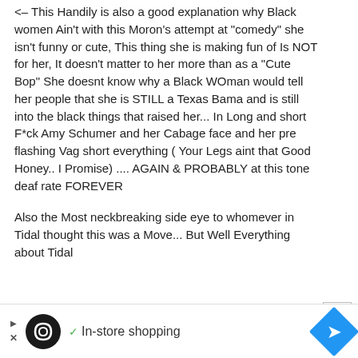<– This Handily is also a good explanation why Black women Ain't with this Moron's attempt at "comedy" she isn't funny or cute, This thing she is making fun of Is NOT for her, It doesn't matter to her more than as a "Cute Bop" She doesnt know why a Black WOman would tell her people that she is STILL a Texas Bama and is still into the black things that raised her... In Long and short F*ck Amy Schumer and her Cabage face and her pre flashing Vag short everything ( Your Legs aint that Good Honey.. I Promise) .... AGAIN & PROBABLY at this tone deaf rate FOREVER
Also the Most neckbreaking side eye to whomever in Tidal thought this was a Move... But Well Everything about Tidal
[Figure (other): Advertisement bar with circular black logo, checkmark, 'In-store shopping' text, and blue diamond navigation arrow icon]